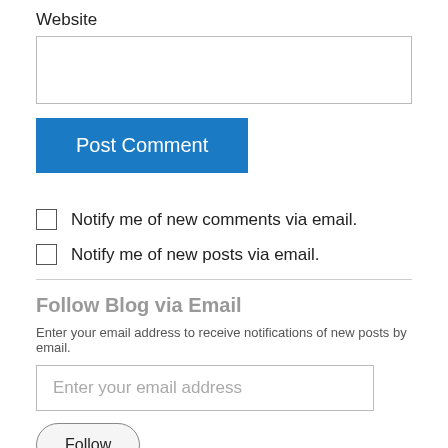Website
[Figure (screenshot): Empty text input box for website field]
[Figure (screenshot): Blue 'Post Comment' button]
Notify me of new comments via email.
Notify me of new posts via email.
Follow Blog via Email
Enter your email address to receive notifications of new posts by email.
[Figure (screenshot): Email address input field with placeholder 'Enter your email address']
[Figure (screenshot): Follow button with rounded border]